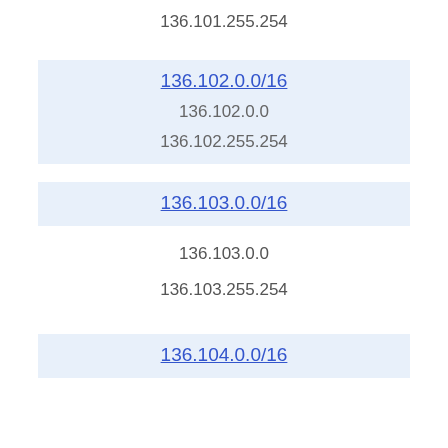136.101.255.254
136.102.0.0/16
136.102.0.0
136.102.255.254
136.103.0.0/16
136.103.0.0
136.103.255.254
136.104.0.0/16